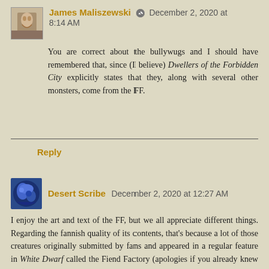James Maliszewski ✎ December 2, 2020 at 8:14 AM
You are correct about the bullywugs and I should have remembered that, since (I believe) Dwellers of the Forbidden City explicitly states that they, along with several other monsters, come from the FF.
Reply
Desert Scribe December 2, 2020 at 12:27 AM
I enjoy the art and text of the FF, but we all appreciate different things. Regarding the fannish quality of its contents, that's because a lot of those creatures originally submitted by fans and appeared in a regular feature in White Dwarf called the Fiend Factory (apologies if you already knew this).
Reply